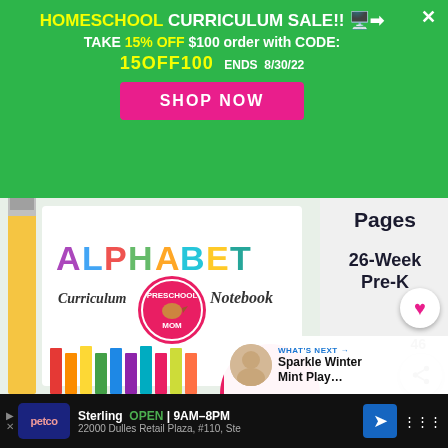HOMESCHOOL CURRICULUM SALE!! 🖥️➡️
TAKE 15% OFF $100 order with CODE:
15OFF100  ENDS  8/30/22
SHOP NOW
[Figure (photo): Alphabet Curriculum Notebook by Preschool Mom — a workbook with colorful letter tiles on cover, surrounded by colored pencils and books. Right side shows: Pages, 26-Week, Pre-K labels, a heart button (46 likes), and share button.]
WHAT'S NEXT → Sparkle Winter Mint Play…
Sterling  OPEN | 9AM–8PM  22000 Dulles Retail Plaza, #110, Ste